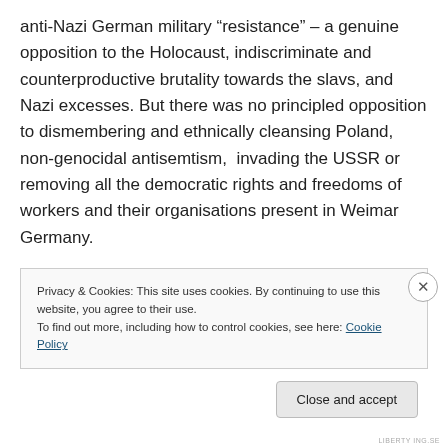anti-Nazi German military “resistance” – a genuine opposition to the Holocaust, indiscriminate and counterproductive brutality towards the slavs, and Nazi excesses. But there was no principled opposition to dismembering and ethnically cleansing Poland, non-genocidal antisemtism,  invading the USSR or removing all the democratic rights and freedoms of workers and their organisations present in Weimar Germany.

Those kind of politics make sense from a class perspective – spending millions to exterminate Jews,
Privacy & Cookies: This site uses cookies. By continuing to use this website, you agree to their use.
To find out more, including how to control cookies, see here: Cookie Policy
Close and accept